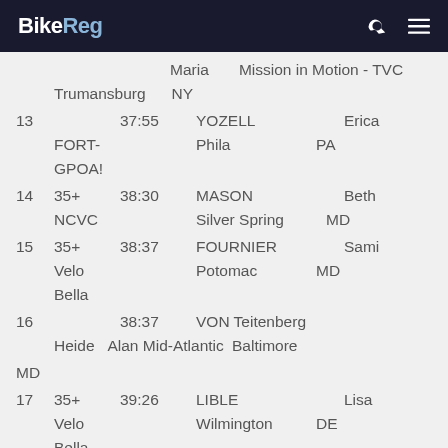BikeReg
Maria  Mission in Motion - TVC  Trumansburg  NY
13  37:55  YOZELL  Erica  FORT-GPOA!  Phila  PA
14  35+  38:30  MASON  Beth  NCVC  Silver Spring  MD
15  35+  38:37  FOURNIER  Sami  Velo Bella  Potomac  MD
16  38:37  VON Teitenberg  Heide  Alan Mid-Atlantic  Baltimore  MD
17  35+  39:26  LIBLE  Lisa  Velo Bella  Wilmington  DE
18  39:35  CHURCH  Kristine  Human Zololm  Haverston  PA
19  35+  39:46  MOST  Lisa  Wissahickon  Philadelphia  PA